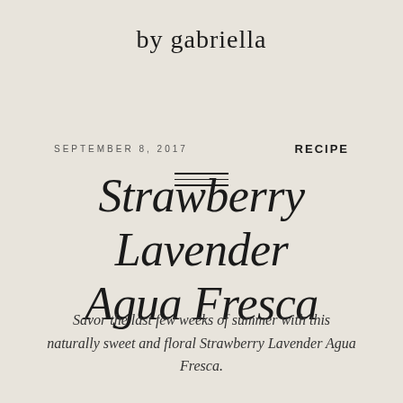by gabriella
Strawberry Lavender Agua Fresca
SEPTEMBER 8, 2017
RECIPE
Savor the last few weeks of summer with this naturally sweet and floral Strawberry Lavender Agua Fresca.